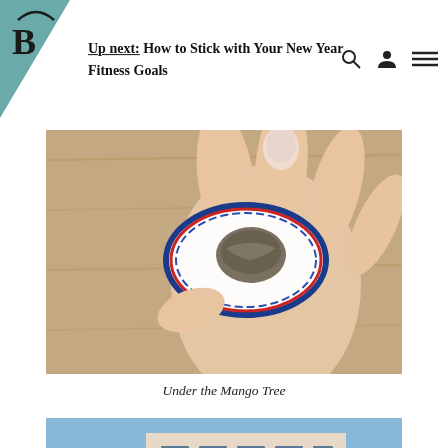Up next: How to Stick with Your New Year Fitness Goals
[Figure (photo): Close-up of a hand holding a blue and white patterned plate with an oyster on it, wooden surface background]
Under the Mango Tree
[Figure (photo): A pink lemonade drink in a clear plastic cup with a paper/bamboo straw, blurred building and blue sky in background]